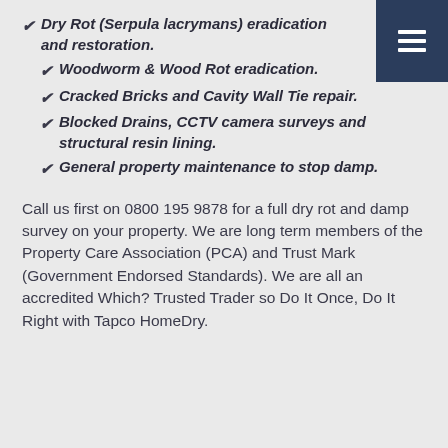Dry Rot (Serpula lacrymans) eradication and restoration.
Woodworm & Wood Rot eradication.
Cracked Bricks and Cavity Wall Tie repair.
Blocked Drains, CCTV camera surveys and structural resin lining.
General property maintenance to stop damp.
Call us first on 0800 195 9878 for a full dry rot and damp survey on your property. We are long term members of the Property Care Association (PCA) and Trust Mark (Government Endorsed Standards). We are all an accredited Which? Trusted Trader so Do It Once, Do It Right with Tapco HomeDry.